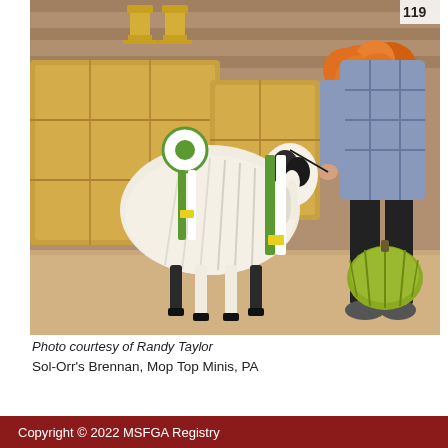[Figure (photo): A long-haired goat (likely Nigerian Dwarf or similar mini breed) with white and black coloring, wearing green and white champion show ribbons. The goat stands on a sawdust-covered floor in front of hay bales and orange chrysanthemums. Trophies are visible in the background upper left. A person in a plaid shirt and dark pants holds the goat's lead. A striped pumpkin sits to the right of the goat. A number tag '119' is partially visible in the upper right corner.]
Photo courtesy of Randy Taylor
Sol-Orr's Brennan, Mop Top Minis, PA
Copyright © 2022 MSFGA Registry